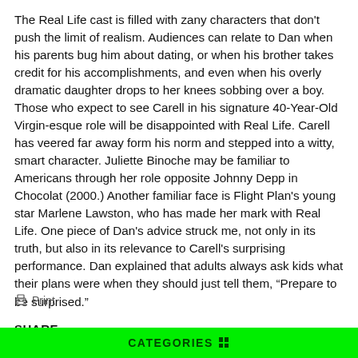The Real Life cast is filled with zany characters that don't push the limit of realism. Audiences can relate to Dan when his parents bug him about dating, or when his brother takes credit for his accomplishments, and even when his overly dramatic daughter drops to her knees sobbing over a boy. Those who expect to see Carell in his signature 40-Year-Old Virgin-esque role will be disappointed with Real Life. Carell has veered far away form his norm and stepped into a witty, smart character. Juliette Binoche may be familiar to Americans through her role opposite Johnny Depp in Chocolat (2000.) Another familiar face is Flight Plan's young star Marlene Lawston, who has made her mark with Real Life. One piece of Dan's advice struck me, not only in its truth, but also in its relevance to Carell's surprising performance. Dan explained that adults always ask kids what their plans were when they should just tell them, “Prepare to be surprised.”
Print
SHARE
CATEGORIES